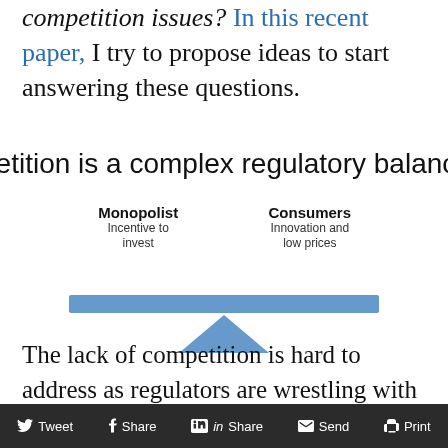competition issues? In this recent paper, I try to propose ideas to start answering these questions.
petition is a complex regulatory balancing
[Figure (infographic): A balance/scale diagram showing Monopolist (Incentive to invest) on the left side and Consumers (Innovation and low prices) on the right side, with a blue horizontal bar balanced on a blue triangle fulcrum.]
The lack of competition is hard to address as regulators are wrestling with complex market incentives. On the one hand a monopoly
Tweet  Share  Share  Send  Print